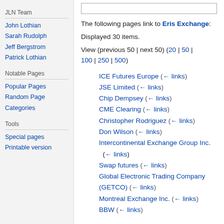JLN Team
John Lothian
Sarah Rudolph
Jeff Bergstrom
Patrick Lothian
Notable Pages
Popular Pages
Random Page
Categories
Tools
Special pages
Printable version
The following pages link to Eris Exchange:
Displayed 30 items.
View (previous 50 | next 50) (20 | 50 | 100 | 250 | 500)
ICE Futures Europe  (← links)
JSE Limited  (← links)
Chip Dempsey  (← links)
CME Clearing  (← links)
Christopher Rodriguez  (← links)
Don Wilson  (← links)
Intercontinental Exchange Group Inc.  (← links)
Swap futures  (← links)
Global Electronic Trading Company (GETCO)  (← links)
Montreal Exchange Inc.  (← links)
BBW  (← links)